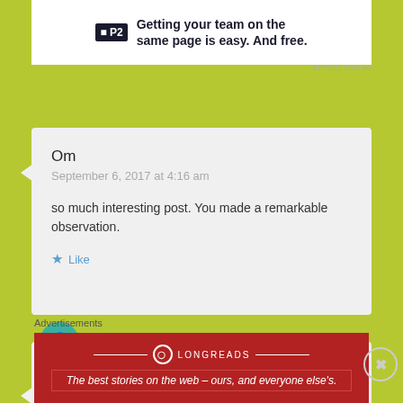[Figure (other): P2 advertisement banner: logo with 'P2' and text 'Getting your team on the same page is easy. And free.']
REPORT THIS AD
Om
September 6, 2017 at 4:16 am

so much interesting post. You made a remarkable observation.

★ Like
Travel Parable
September 9, 2017 at 6:09 pm

Thanks for your words. 🙂
Advertisements
[Figure (other): Longreads advertisement banner in red: logo and text 'The best stories on the web – ours, and everyone else's.']